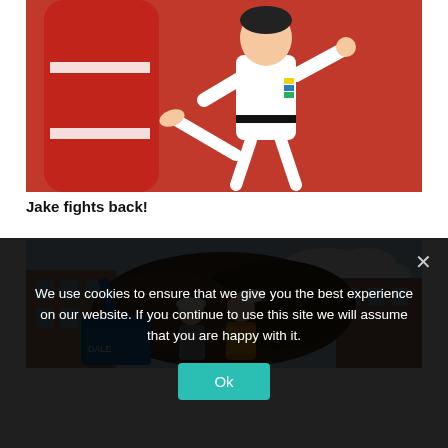[Figure (photo): Child in white taekwondo uniform with black belt performing a kick against a large red punching bag]
Jake fights back!
[Figure (photo): Two people holding white hard hats at a construction site with blue machinery and mounds of earth, with buildings in background]
We use cookies to ensure that we give you the best experience on our website. If you continue to use this site we will assume that you are happy with it.